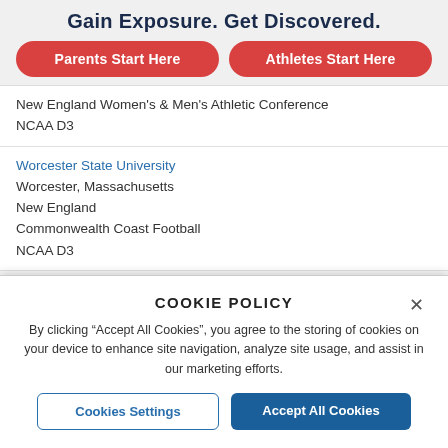Gain Exposure. Get Discovered.
Parents Start Here
Athletes Start Here
New England Women's & Men's Athletic Conference
NCAA D3
Worcester State University
Worcester, Massachusetts
New England
Commonwealth Coast Football
NCAA D3
Yale University
COOKIE POLICY
By clicking "Accept All Cookies", you agree to the storing of cookies on your device to enhance site navigation, analyze site usage, and assist in our marketing efforts.
Cookies Settings
Accept All Cookies